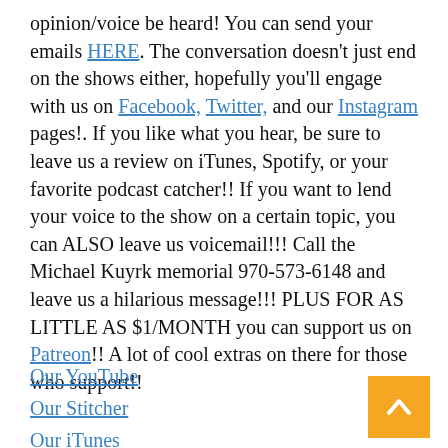opinion/voice be heard! You can send your emails HERE. The conversation doesn't just end on the shows either, hopefully you'll engage with us on Facebook, Twitter, and our Instagram pages!. If you like what you hear, be sure to leave us a review on iTunes, Spotify, or your favorite podcast catcher!! If you want to lend your voice to the show on a certain topic, you can ALSO leave us voicemail!!! Call the Michael Kuyrk memorial 970-573-6148 and leave us a hilarious message!!! PLUS FOR AS LITTLE AS $1/MONTH you can support us on Patreon!! A lot of cool extras on there for those who support!!
Our YouTube
Our Stitcher
Our iTunes